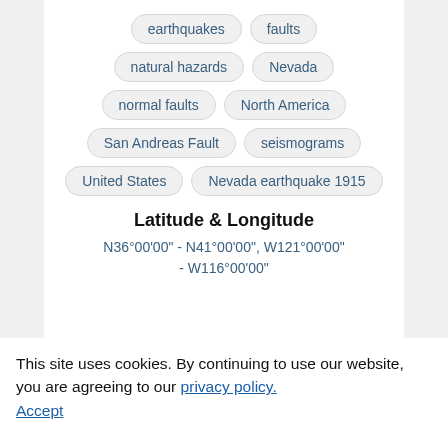earthquakes
faults
natural hazards
Nevada
normal faults
North America
San Andreas Fault
seismograms
United States
Nevada earthquake 1915
Latitude & Longitude
N36°00'00" - N41°00'00", W121°00'00" - W116°00'00"
This site uses cookies. By continuing to use our website, you are agreeing to our privacy policy. Accept